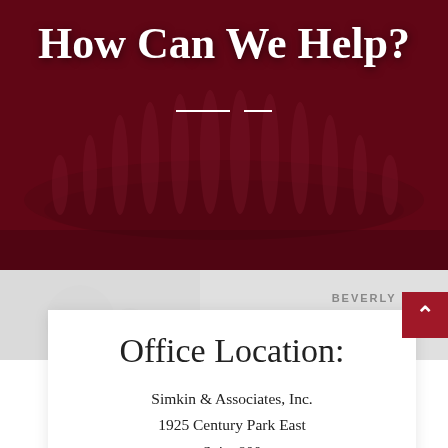How Can We Help?
[Figure (photo): Dark red tinted hero image of a fountain/building, used as background behind the title text]
BEVERLY GLEN
Office Location:
Simkin & Associates, Inc.
1925 Century Park East
Suite 800
Los Angeles, CA 90067
Phone:
310-788-9089